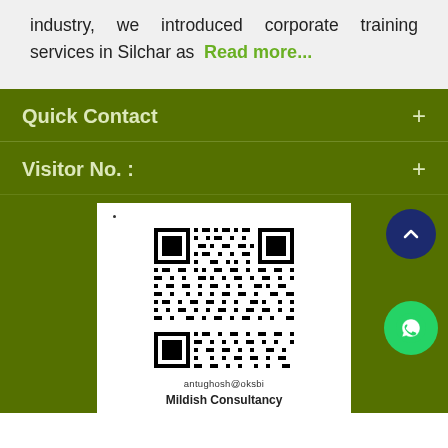industry, we introduced corporate training services in Silchar as Read more...
Quick Contact
Visitor No. :
[Figure (other): QR code with email antughosh@oksbi below it and partial text 'Mildish Consultancy' at bottom]
antughosh@oksbi
Mildish Consultancy